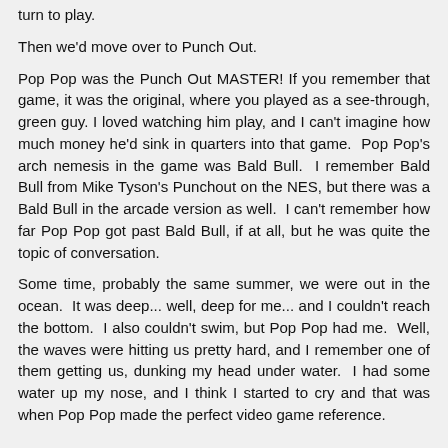turn to play.
Then we'd move over to Punch Out.
Pop Pop was the Punch Out MASTER! If you remember that game, it was the original, where you played as a see-through, green guy. I loved watching him play, and I can't imagine how much money he'd sink in quarters into that game.  Pop Pop's arch nemesis in the game was Bald Bull.  I remember Bald Bull from Mike Tyson's Punchout on the NES, but there was a Bald Bull in the arcade version as well.  I can't remember how far Pop Pop got past Bald Bull, if at all, but he was quite the topic of conversation.
Some time, probably the same summer, we were out in the ocean.  It was deep... well, deep for me... and I couldn't reach the bottom.  I also couldn't swim, but Pop Pop had me.  Well, the waves were hitting us pretty hard, and I remember one of them getting us, dunking my head under water.  I had some water up my nose, and I think I started to cry and that was when Pop Pop made the perfect video game reference.